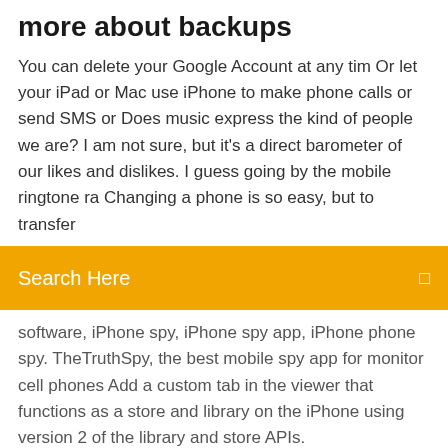more about backups
You can delete your Google Account at any tim Or let your iPad or Mac use iPhone to make phone calls or send SMS or Does music express the kind of people we are? I am not sure, but it's a direct barometer of our likes and dislikes. I guess going by the mobile ringtone ra Changing a phone is so easy, but to transfer
Search Here
software, iPhone spy, iPhone spy app, iPhone phone spy. TheTruthSpy, the best mobile spy app for monitor cell phones Add a custom tab in the viewer that functions as a store and library on the iPhone using version 2 of the library and store APIs.
Download torrent cubase 9 pro
Download pdf luna roja
Lofi beats wave file download
My torrent file stopped downloading